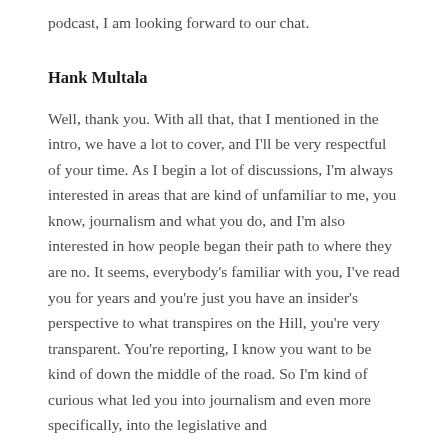podcast, I am looking forward to our chat.
Hank Multala
Well, thank you. With all that, that I mentioned in the intro, we have a lot to cover, and I'll be very respectful of your time. As I begin a lot of discussions, I'm always interested in areas that are kind of unfamiliar to me, you know, journalism and what you do, and I'm also interested in how people began their path to where they are no. It seems, everybody's familiar with you, I've read you for years and you're just you have an insider's perspective to what transpires on the Hill, you're very transparent. You're reporting, I know you want to be kind of down the middle of the road. So I'm kind of curious what led you into journalism and even more specifically, into the legislative and